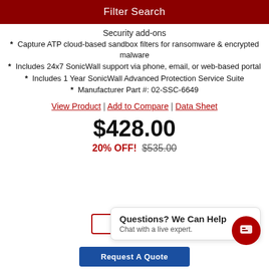Filter Search
Security add-ons
Capture ATP cloud-based sandbox filters for ransomware & encrypted malware
Includes 24x7 SonicWall support via phone, email, or web-based portal
Includes 1 Year SonicWall Advanced Protection Service Suite
Manufacturer Part #: 02-SSC-6649
View Product | Add to Compare | Data Sheet
$428.00
20% OFF! $535.00
Questions? We Can Help
Chat with a live expert.
Request A Quote